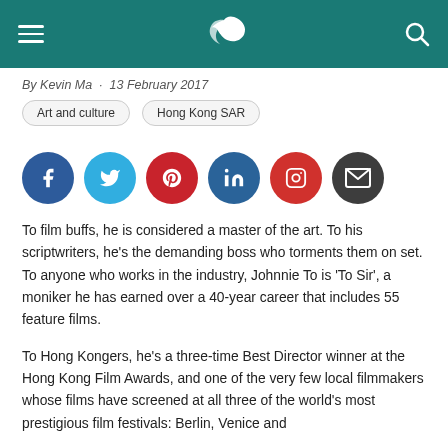Cathay Pacific header with navigation
By Kevin Ma · 13 February 2017
Art and culture   Hong Kong SAR
[Figure (infographic): Social media share icons: Facebook, Twitter, Pinterest, LinkedIn, Instagram, Email]
To film buffs, he is considered a master of the art. To his scriptwriters, he's the demanding boss who torments them on set. To anyone who works in the industry, Johnnie To is 'To Sir', a moniker he has earned over a 40-year career that includes 55 feature films.
To Hong Kongers, he's a three-time Best Director winner at the Hong Kong Film Awards, and one of the very few local filmmakers whose films have screened at all three of the world's most prestigious film festivals: Berlin, Venice and